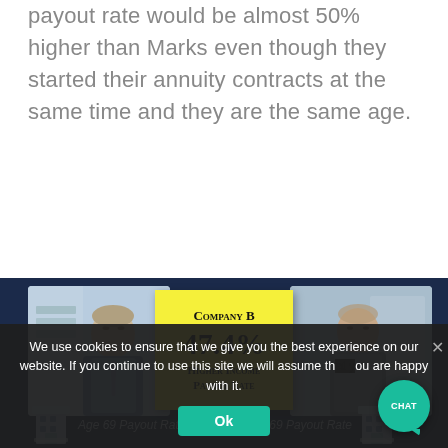payout rate would be almost 50% higher than Marks even though they started their annuity contracts at the same time and they are the same age.
[Figure (infographic): Infographic on dark navy background showing two men (left: businessman in shirt and tie, right: casual man in grey sweater) with a yellow sticky note in the center reading 'Company B 47.4% Higher Income Payout Rate'. Below each man is a building icon and 'Age 69 Payout Rate' label.]
We use cookies to ensure that we give you the best experience on our website. If you continue to use this site we will assume that you are happy with it.